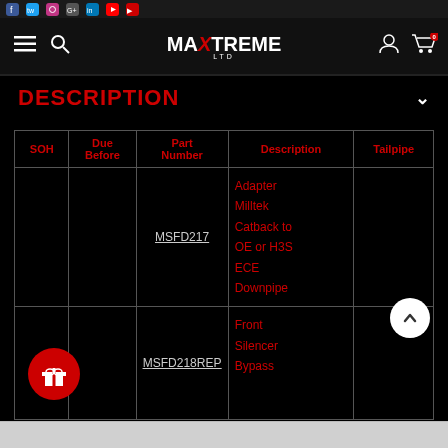MAXTREME LTD
DESCRIPTION
| SOH | Due Before | Part Number | Description | Tailpipe |
| --- | --- | --- | --- | --- |
|  |  | MSFD217 | Adapter Milltek Catback to OE or H3S ECE Downpipe |  |
|  |  | MSFD218REP | Front Silencer Bypass |  |